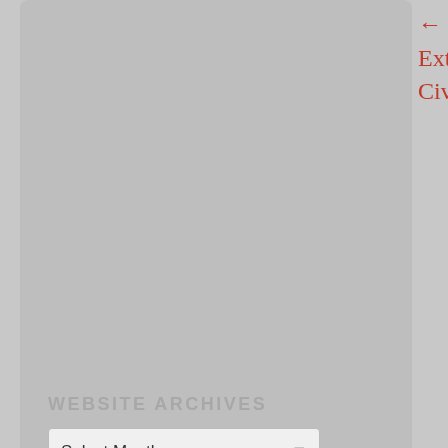[Figure (screenshot): Gray card panel on the left side of the page, partially visible, showing a website archives section]
WEBSITE ARCHIVES
Select Month
← Government Review o... Extradition Offers Few A... Civil Liberties Coalition
GET NOTIFICATIONS FOR NEW POSTS
Enter your email address to receive notifications of new posts published o...